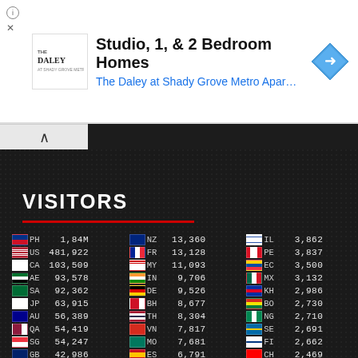[Figure (screenshot): Advertisement banner for The Daley at Shady Grove Metro Apartments showing Studio, 1 & 2 Bedroom Homes]
VISITORS
| Flag | Country | Visitors | Flag | Country | Visitors | Flag | Country | Visitors |
| --- | --- | --- | --- | --- | --- | --- | --- | --- |
| PH | 1,84M | NZ | 13,360 | IL | 3,862 |
| US | 481,922 | FR | 13,128 | PE | 3,837 |
| CA | 103,509 | MY | 11,093 | EC | 3,500 |
| AE | 93,578 | IN | 9,706 | MX | 3,132 |
| SA | 92,362 | DE | 9,526 | KH | 2,986 |
| JP | 63,915 | BH | 8,677 | BO | 2,730 |
| AU | 56,389 | TH | 8,304 | NG | 2,710 |
| QA | 54,419 | VN | 7,817 | SE | 2,691 |
| SG | 54,247 | MO | 7,681 | FI | 2,662 |
| GB | 42,986 | ES | 6,791 | CH | 2,469 |
| BR | 39,940 | OM | 6,756 | GH | 2,426 |
| IE | 38,934 | BN | 6,740 | PG | 2,329 |
| HK | 23,851 | CO | 6,678 | VE | 2,150 |
| KR | 19,297 | GU | 6,283 | AR | 2,087 |